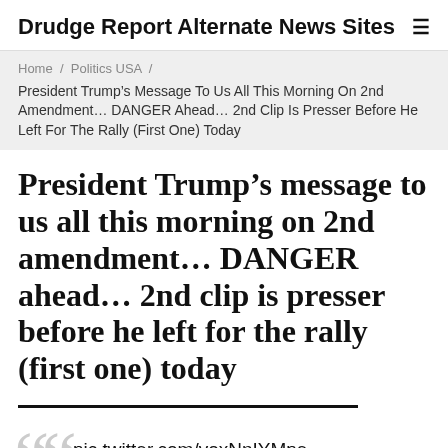Drudge Report Alternate News Sites
Home / Politics USA / President Trump’s Message To Us All This Morning On 2nd Amendment… DANGER Ahead… 2nd Clip Is Presser Before He Left For The Rally (First One) Today
President Trump’s message to us all this morning on 2nd amendment… DANGER ahead… 2nd clip is presser before he left for the rally (first one) today
pic.twitter.com/voxNnIYMpe — Donald J.